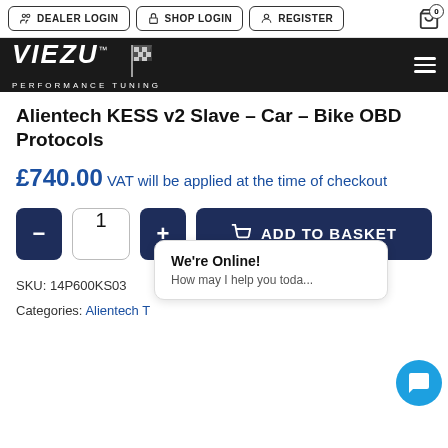DEALER LOGIN  SHOP LOGIN  REGISTER  0
[Figure (logo): VIEZU Performance Tuning logo on dark background with hamburger menu]
Alientech KESS v2 Slave – Car – Bike OBD Protocols
£740.00 VAT will be applied at the time of checkout
- 1 + ADD TO BASKET
SKU: 14P600KS03
Categories: Alientech T
We're Online! How may I help you toda...